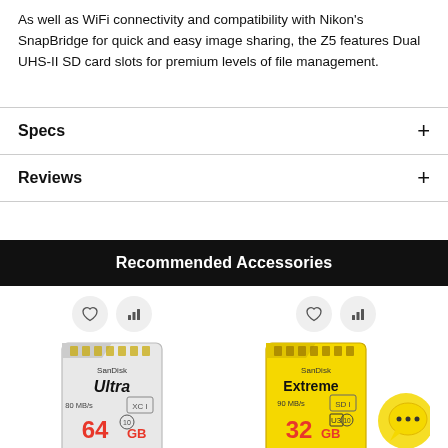As well as WiFi connectivity and compatibility with Nikon's SnapBridge for quick and easy image sharing, the Z5 features Dual UHS-II SD card slots for premium levels of file management.
Specs
Reviews
Recommended Accessories
[Figure (photo): SanDisk Ultra 64GB SD card (80 MB/s, XC I class 10)]
[Figure (photo): SanDisk Extreme 32GB SD card (90 MB/s, U3 class 10) with chat bubble icon overlay]